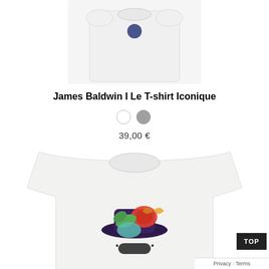[Figure (photo): White t-shirt product photo, partially visible, top crop]
James Baldwin I Le T-shirt Iconique
[Figure (other): Two color swatches: white circle and gray circle]
39,00 €
[Figure (photo): White t-shirt with colorful illustrated graphic (flowers, hat, sunglasses), bottom portion of page]
TOP
Privacy · Terms